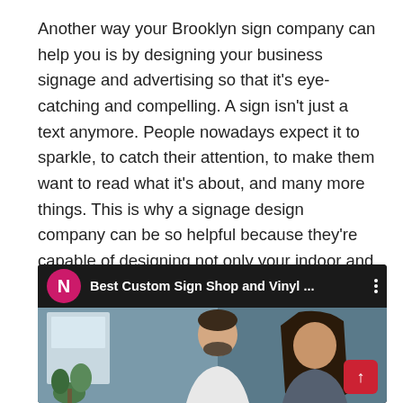Another way your Brooklyn sign company can help you is by designing your business signage and advertising so that it's eye-catching and compelling. A sign isn't just a text anymore. People nowadays expect it to sparkle, to catch their attention, to make them want to read what it's about, and many more things. This is why a signage design company can be so helpful because they're capable of designing not only your indoor and outdoor signage but also your signage materials like letterheads, envelopes, labels, and more.
[Figure (screenshot): A video player thumbnail showing a YouTube-style video titled 'Best Custom Sign Shop and Vinyl ...' with a pink channel icon displaying 'N', a three-dot menu, and a thumbnail image of two people (a man and a woman) smiling, with a red scroll-to-top button in the bottom right corner.]